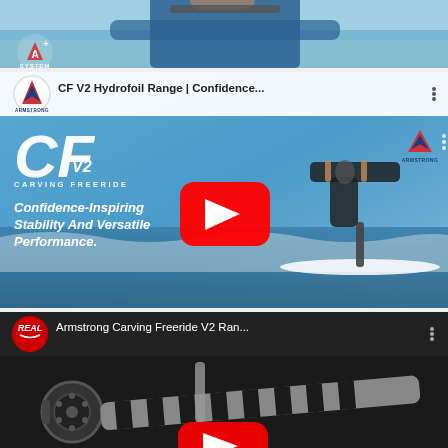[Figure (screenshot): Partial YouTube video thumbnail showing a person holding a hydrofoil near water, with A+ System logo in bottom left corner]
[Figure (screenshot): YouTube video thumbnail for 'CF V2 Hydrofoil Range | Confidence...' by Armstrong. Shows CF V2 Carving Freeride branding, a person hydrofoiling on a wave, Armstrong logo, and text 'Confidence-Inspiring Stability And Versatile Performance.' with a YouTube play button.]
[Figure (screenshot): YouTube video thumbnail for 'Armstrong Carving Freeride V2 Ran...' by REAL (red circle logo). Shows a hydrofoil/surfboard laid across a truck bed, partial YouTube play button at bottom.]